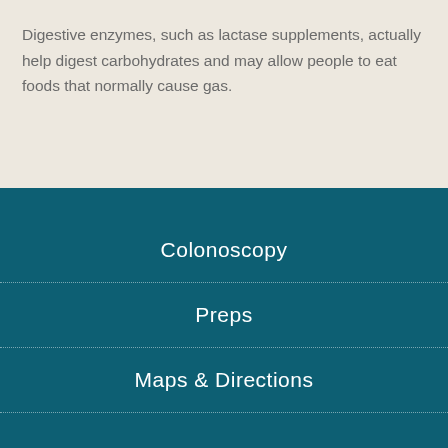Digestive enzymes, such as lactase supplements, actually help digest carbohydrates and may allow people to eat foods that normally cause gas.
Colonoscopy
Preps
Maps & Directions